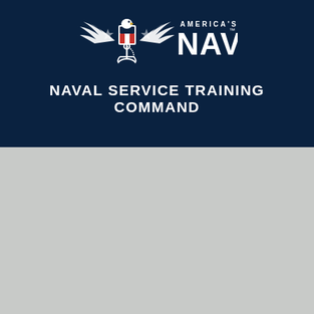[Figure (logo): America's Navy eagle logo with anchor and shield, with 'AMERICA'S NAVY' text in white on dark navy background]
NAVAL SERVICE TRAINING COMMAND